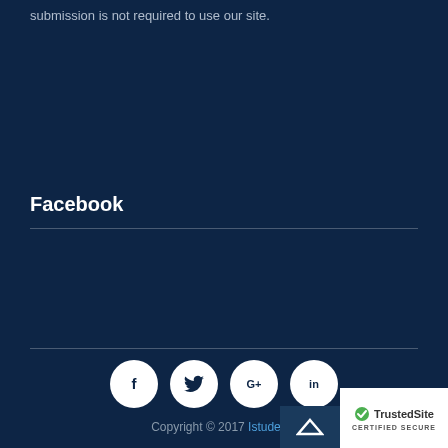submission is not required to use our site.
Facebook
[Figure (other): Social media icons: Facebook (f), Twitter (bird), Google+ (G+), LinkedIn (in)]
Copyright © 2017 Istudentz
[Figure (logo): TrustedSite Certified Secure badge]